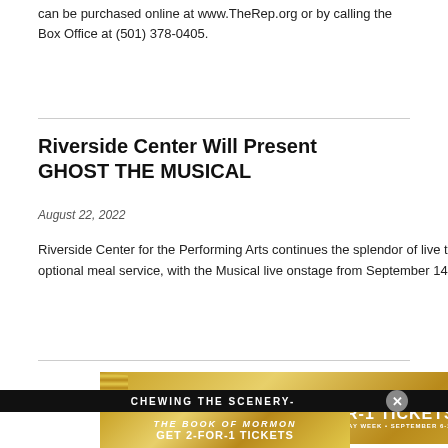can be purchased online at www.TheRep.org or by calling the Box Office at (501) 378-0405.
Riverside Center Will Present GHOST THE MUSICAL
August 22, 2022
[Figure (photo): Ghost The Musical promotional image with stylized text showing 'GHO' and 'THE MUS' on a purple-pink-orange gradient background]
[Figure (infographic): Share panel with Twitter and Facebook icons on dark background]
Riverside Center for the Performing Arts continues the splendor of live theatre, accompanied with an optional meal service, with the Musical live onstage from September 14 through November 6.
[Figure (infographic): Advertisement: THE BOOK OF MORMON - GET 2-FOR-1 TICKETS DURING NYC BROADWAY WEEK • SEPTEMBER 6-25 with gold starburst border design]
CHEWING THE SCENERY-
[Figure (infographic): Advertisement: THE BOOK OF MORMON - GET 2-FOR-1 TICKETS DURING NYC BROADWAY WEEK • SEPTEMBER 6-25 USE CODE BWAYWK GET TICKETS with gold starburst border design]